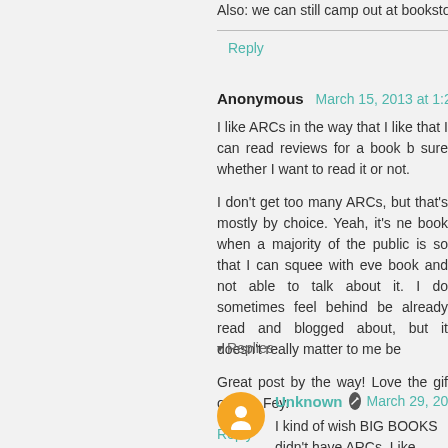Also: we can still camp out at bookstores together, if you wa
Reply
Anonymous  March 15, 2013 at 1:29 PM
I like ARCs in the way that I like that I can read reviews for a book b sure whether I want to read it or not.
I don't get too many ARCs, but that's mostly by choice. Yeah, it's ne book when a majority of the public is so that I can squee with eve book and not able to talk about it. I do sometimes feel behind be already read and blogged about, but it doesn't really matter to me be
Great post by the way! Love the gif of Tina Fey.
Reply
▾ Replies
Unknown  March 29, 2013 at 2:40 PM
I kind of wish BIG BOOKS didn't have ARCs. Like, smaller something most everyone hasn't heard of? So like, all the b Because publishers know people are going to read those